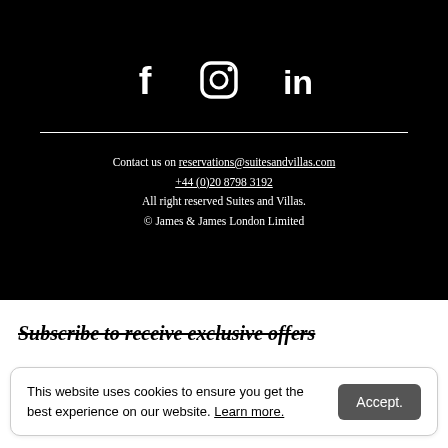[Figure (other): Social media icons: Facebook, Instagram, LinkedIn displayed in white on black background]
Contact us on reservations@suitesandvillas.com
+44 (0)20 8798 3192
All right reserved Suites and Villas.
© James & James London Limited
Subscribe to receive exclusive offers
This website uses cookies to ensure you get the best experience on our website. Learn more.